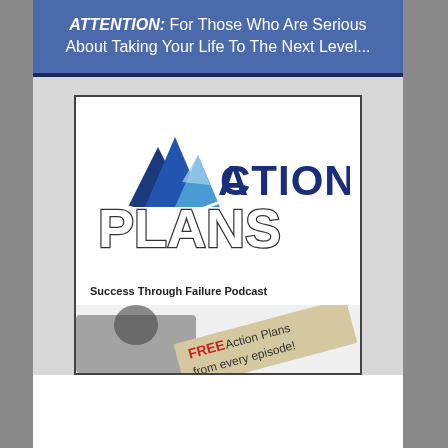ATTENTION: For Those Who Are Serious About Taking Your Life To The Next Level...
[Figure (logo): Action Plans - Success Through Failure Podcast logo. Features mountain/arrow graphic in blue, large text 'ACTION PLANS', subtitle 'Success Through Failure Podcast', and a banner reading 'FREE Action Plans from every episode!']